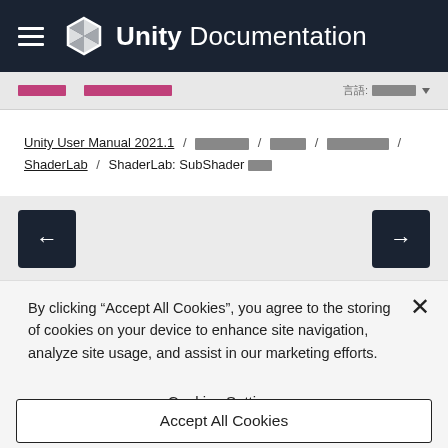Unity Documentation
[nav links] [language selector]
Unity User Manual 2021.1 / [breadcrumb] / [breadcrumb] / [breadcrumb] / ShaderLab / ShaderLab: SubShader [text]
[Figure (other): Navigation buttons: left arrow (back) and right arrow (forward)]
By clicking "Accept All Cookies", you agree to the storing of cookies on your device to enhance site navigation, analyze site usage, and assist in our marketing efforts.
Cookies Settings
Accept All Cookies